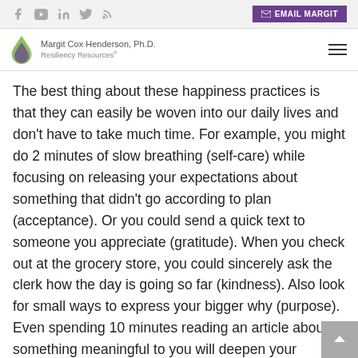Social icons (Facebook, YouTube, LinkedIn, Twitter, RSS) | EMAIL MARGIT button | Margit Cox Henderson, Ph.D. Resiliency Resources logo and name
The best thing about these happiness practices is that they can easily be woven into our daily lives and don’t have to take much time. For example, you might do 2 minutes of slow breathing (self-care) while focusing on releasing your expectations about something that didn’t go according to plan (acceptance). Or you could send a quick text to someone you appreciate (gratitude). When you check out at the grocery store, you could sincerely ask the clerk how the day is going so far (kindness). Also look for small ways to express your bigger why (purpose). Even spending 10 minutes reading an article about something meaningful to you will deepen your